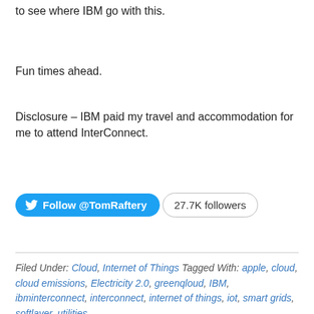to see where IBM go with this.
Fun times ahead.
Disclosure – IBM paid my travel and accommodation for me to attend InterConnect.
[Figure (other): Twitter Follow @TomRaftery button with 27.7K followers count]
Filed Under: Cloud, Internet of Things Tagged With: apple, cloud, cloud emissions, Electricity 2.0, greenqloud, IBM, ibminterconnect, interconnect, internet of things, iot, smart grids, softlayer, utilities
Lack of emissions reporting from (some) cloud providers is a great learning opportunity